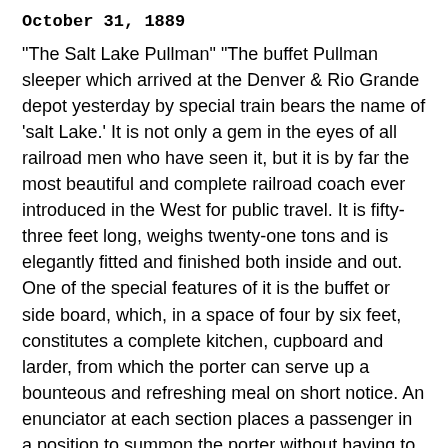October 31, 1889
"The Salt Lake Pullman" "The buffet Pullman sleeper which arrived at the Denver & Rio Grande depot yesterday by special train bears the name of 'salt Lake.' It is not only a gem in the eyes of all railroad men who have seen it, but it is by far the most beautiful and complete railroad coach ever introduced in the West for public travel. It is fifty-three feet long, weighs twenty-one tons and is elegantly fitted and finished both inside and out. One of the special features of it is the buffet or side board, which, in a space of four by six feet, constitutes a complete kitchen, cupboard and larder, from which the porter can serve up a bounteous and refreshing meal on short notice. An enunciator at each section places a passenger in a position to summon the porter without having to stumble through the car in search of him. The finish of the interior is highly artistic in general appearance and in detail, and aside from these special points of excellence has quite as much room and as many conveniences as are found on the ordinary Pullman car. No other road except the